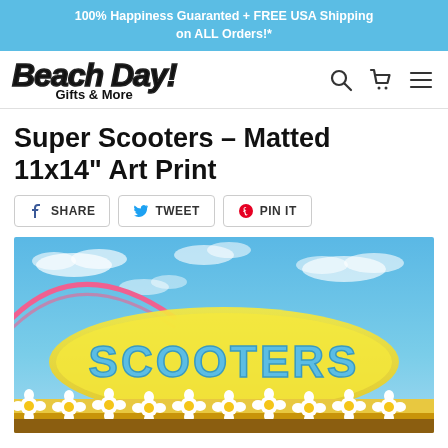100% Happiness Guaranted + FREE USA Shipping on ALL Orders!*
[Figure (logo): Beach Day! Gifts & More logo with search, cart, and menu icons]
Super Scooters – Matted 11x14" Art Print
SHARE | TWEET | PIN IT
[Figure (photo): Colorful amusement park 'Super Scooters' sign against a blue sky with clouds, flowers in foreground]